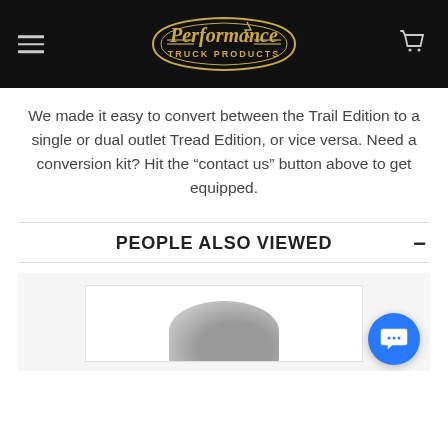Performance Truck Products — navigation header with hamburger menu and cart icon
We made it easy to convert between the Trail Edition to a single or dual outlet Tread Edition, or vice versa. Need a conversion kit? Hit the “contact us” button above to get equipped.
PEOPLE ALSO VIEWED
[Figure (photo): Partially visible product image (appears to be a truck exhaust or similar component) inside a white product card on a light gray background, with a blue chat button overlay in the bottom right.]